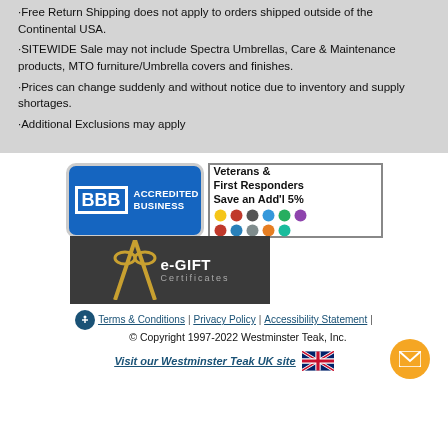·Free Return Shipping does not apply to orders shipped outside of the Continental USA.
·SITEWIDE Sale may not include Spectra Umbrellas, Care & Maintenance products, MTO furniture/Umbrella covers and finishes.
·Prices can change suddenly and without notice due to inventory and supply shortages.
·Additional Exclusions may apply
[Figure (logo): BBB Accredited Business badge (blue rounded rectangle with BBB logo and text)]
[Figure (infographic): Veterans & First Responders Save an Add'l 5% badge with military/police insignia icons]
[Figure (infographic): e-GIFT Certificates dark banner with gold ribbon bow]
Terms & Conditions | Privacy Policy | Accessibility Statement | © Copyright 1997-2022 Westminster Teak, Inc.
Visit our Westminster Teak UK site